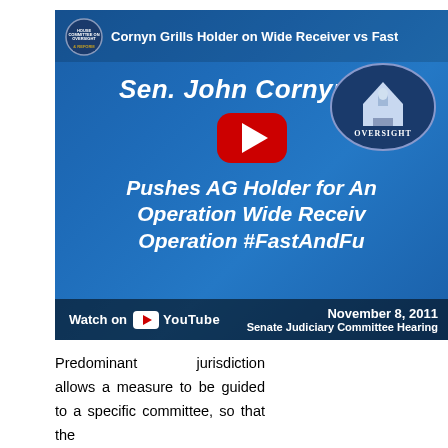[Figure (screenshot): YouTube video thumbnail showing a Senate Judiciary Committee hearing on November 8, 2011. Title: 'Cornyn Grills Holder on Wide Receiver vs Fast [and Furious]'. Features Sen. John Cornyn, R-[TX], pushing AG Holder for answers on Operation Wide Receiver and Operation #FastAndFurious. Shows Oversight committee logo, YouTube play button, and 'Watch on YouTube' button at bottom.]
Predominant jurisdiction allows a measure to be guided to a specific committee, so that the